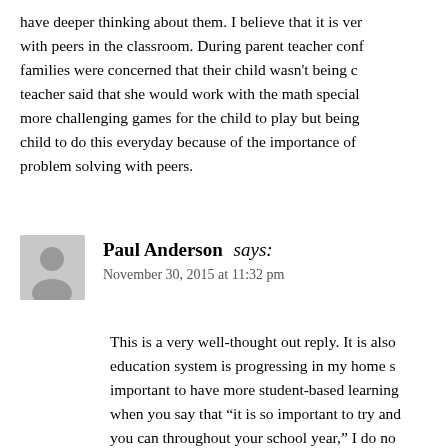have deeper thinking about them. I believe that it is very important to work with peers in the classroom. During parent teacher conferences, some families were concerned that their child wasn't being challenged. The teacher said that she would work with the math specialist to create more challenging games for the child to play but being sure to have the child to do this everyday because of the importance of teamwork and problem solving with peers.
Paul Anderson says: November 30, 2015 at 11:32 pm
This is a very well-thought out reply. It is also interesting that the education system is progressing in my home state as well. I believe it is important to have more student-based learning environments. However, when you say that "it is so important to try and incorporate as many as you can throughout your school year," I do not completely agree. It may be correct to say that it is beneficial to use various methods but using as many as you can may become confusing to the students and yourself. Try and find which teaching methods...